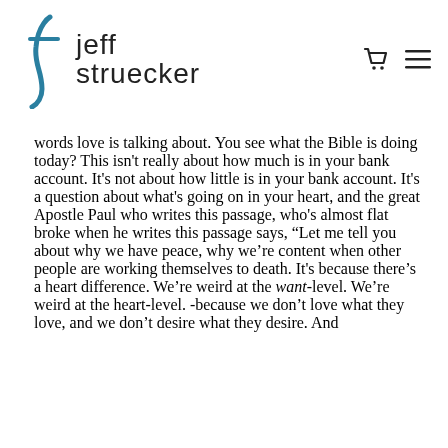jeff struecker
words love is talking about. You see what the Bible is doing today? This isn't really about how much is in your bank account. It's not about how little is in your bank account. It's a question about what's going on in your heart, and the great Apostle Paul who writes this passage, who's almost flat broke when he writes this passage says, “Let me tell you about why we have peace, why we’re content when other people are working themselves to death. It's because there's a heart difference. We're weird at the want-level. We're weird at the heart-level. -because we don't love what they love, and we don't desire what they desire. And